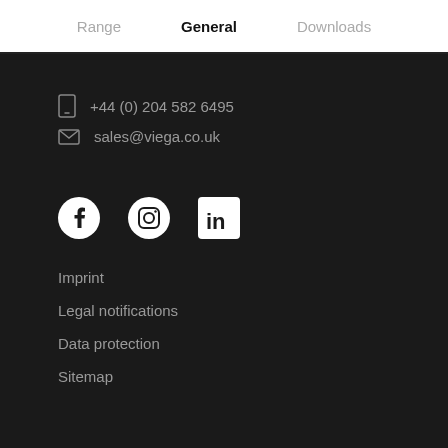Range   General   Downloads
+44 (0) 204 582 6495
sales@viega.co.uk
[Figure (infographic): Social media icons: Facebook, Instagram, LinkedIn]
Imprint
Legal notifications
Data protection
Sitemap